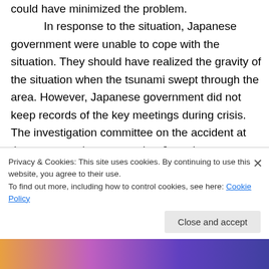could have minimized the problem.

In response to the situation, Japanese government were unable to cope with the situation. They should have realized the gravity of the situation when the tsunami swept through the area. However, Japanese government did not keep records of the key meetings during crisis. The investigation committee on the accident at the power station reports that Japan's response was flawed by "Poor communication and delays in releasing...
Privacy & Cookies: This site uses cookies. By continuing to use this website, you agree to their use.
To find out more, including how to control cookies, see here: Cookie Policy